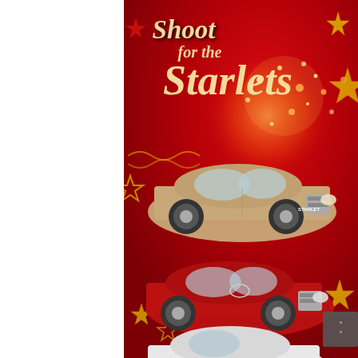[Figure (illustration): Toyota Starlet promotional advertisement with red background, gold stars, bokeh lights. Shows 'Shoot for the Starlets' title text in cream/gold italic lettering. Three Toyota Starlet cars displayed: top is champagne/gold colored, middle is red colored, bottom is white colored. A grey scroll-up button is visible in the bottom right corner.]